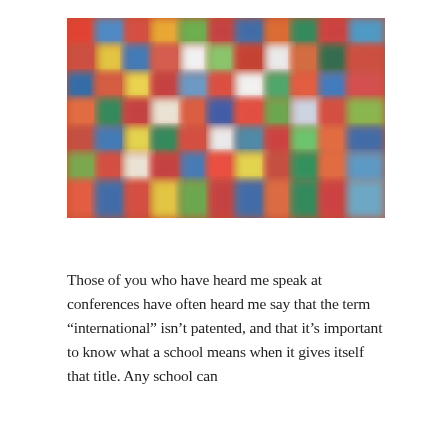[Figure (photo): A blurred, colorful collage of what appear to be flags or colorful fabric pieces arranged in a mosaic pattern, rendered with soft focus blur.]
Those of you who have heard me speak at conferences have often heard me say that the term “international” isn’t patented, and that it’s important to know what a school means when it gives itself that title. Any school can